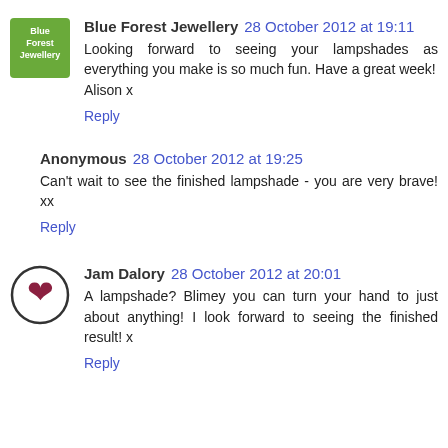[Figure (logo): Blue Forest Jewellery avatar - green square with white text logo]
Blue Forest Jewellery 28 October 2012 at 19:11
Looking forward to seeing your lampshades as everything you make is so much fun. Have a great week!
Alison x
Reply
Anonymous 28 October 2012 at 19:25
Can't wait to see the finished lampshade - you are very brave! xx
Reply
[Figure (logo): Jam Dalory avatar - circular icon with dark red heart/comma symbol on white background with dark border]
Jam Dalory 28 October 2012 at 20:01
A lampshade? Blimey you can turn your hand to just about anything! I look forward to seeing the finished result! x
Reply